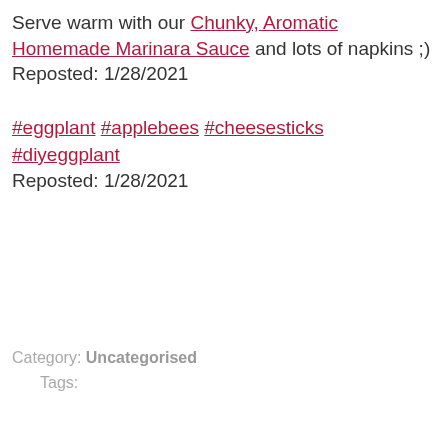Serve warm with our Chunky, Aromatic Homemade Marinara Sauce and lots of napkins ;) Reposted: 1/28/2021
#eggplant #applebees #cheesesticks #diyeggplant
Reposted: 1/28/2021
Category:  Uncategorised
Tags: